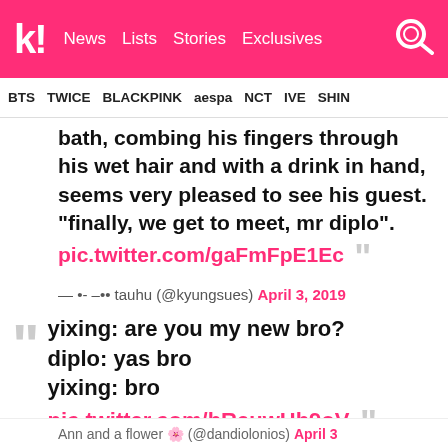k! News Lists Stories Exclusives
BTS TWICE BLACKPINK aespa NCT IVE SHINE
bath, combing his fingers through his wet hair and with a drink in hand, seems very pleased to see his guest. "finally, we get to meet, mr diplo". pic.twitter.com/gaFmFpE1Ec
— •- –•• tauhu (@kyungsues) April 3, 2019
yixing: are you my new bro?
diplo: yas bro
yixing: bro
pic.twitter.com/bReuwHb9oV
Ann and a flower 🌸 (@dandiolonios) April 3